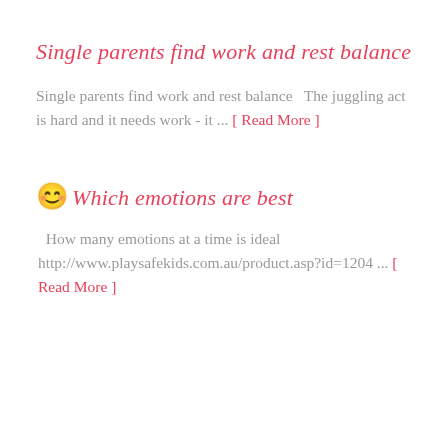Single parents find work and rest balance
Single parents find work and rest balance  The juggling act is hard and it needs work - it ... [ Read More ]
😊Which emotions are best
How many emotions at a time is ideal http://www.playsafekids.com.au/product.asp?id=1204 ... [ Read More ]